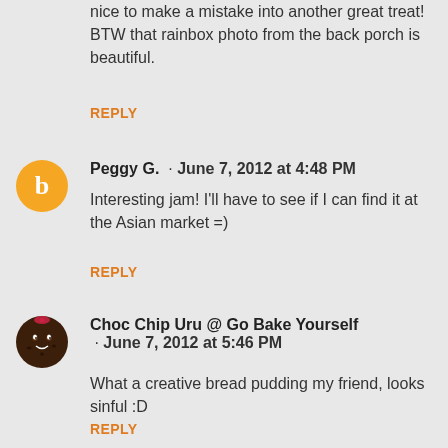nice to make a mistake into another great treat! BTW that rainbox photo from the back porch is beautiful.
REPLY
Peggy G. · June 7, 2012 at 4:48 PM
Interesting jam! I'll have to see if I can find it at the Asian market =)
REPLY
Choc Chip Uru @ Go Bake Yourself · June 7, 2012 at 5:46 PM
What a creative bread pudding my friend, looks sinful :D

Cheers
CCU
REPLY